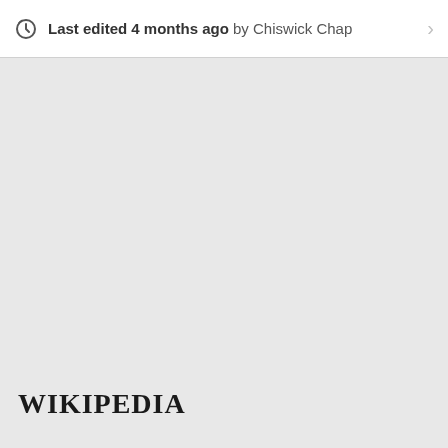Last edited 4 months ago by Chiswick Chap
Wikipedia